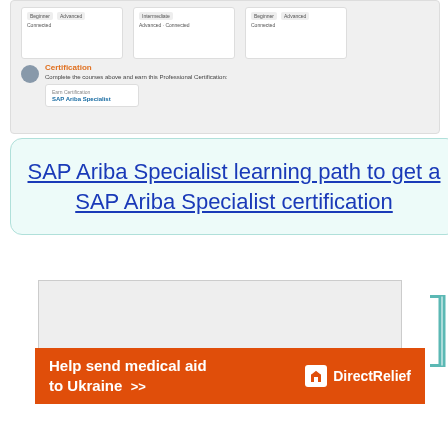[Figure (screenshot): Screenshot of SAP Learning platform showing course cards with Beginner/Advanced/Connected badges and a Certification section with SAP Ariba Specialist badge]
SAP Ariba Specialist learning path to get a SAP Ariba Specialist certification
[Figure (screenshot): Advertisement area placeholder (gray box)]
[Figure (other): Direct Relief advertisement banner: Help send medical aid to Ukraine >> with Direct Relief logo]